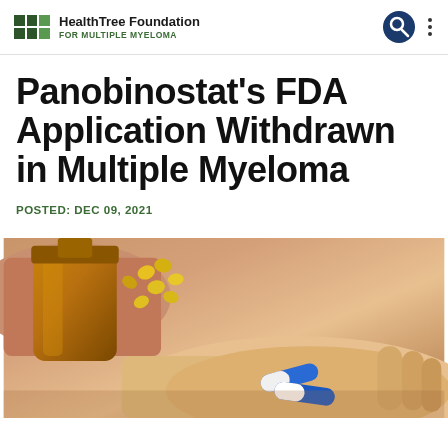HealthTree Foundation FOR MULTIPLE MYELOMA
Panobinostat's FDA Application Withdrawn in Multiple Myeloma
POSTED: DEC 09, 2021
[Figure (photo): Close-up photo of hands: one hand holds an amber pill bottle pouring yellow capsules, the other palm holds two capsules (one blue-and-white, one blue-and-white). Medical/pharmaceutical context.]